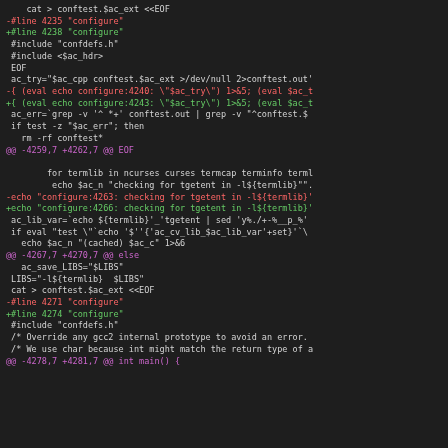Diff/patch code showing configure script changes with unified diff format, including line number markers and changed lines for terminal library detection (tgetent) and conftest file generation.